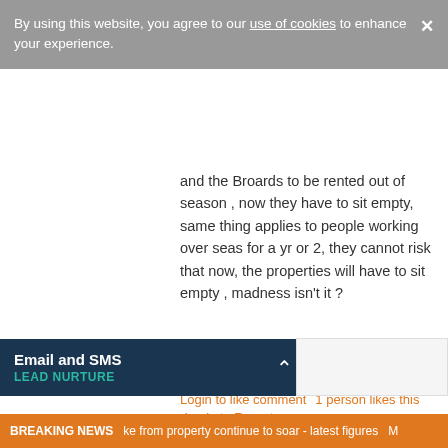By using this website, you agree to our use of cookies to enhance your experience.
and the Broards to be rented out of season , now they have to sit empty, same thing applies to people working over seas for a yr or 2, they cannot risk that now, the properties will have to sit empty , madness isn't it ?
Login to like comment  1 person likes this  Login to Report
[Figure (illustration): Two circular chat/comment icon buttons in orange outline style]
Please login to comment
[Figure (illustration): Orange circle avatar placeholder icon]
Email and SMS LEAD NURTURE
BREAKING NEWS  ke from property continue to soar - latest figures  M